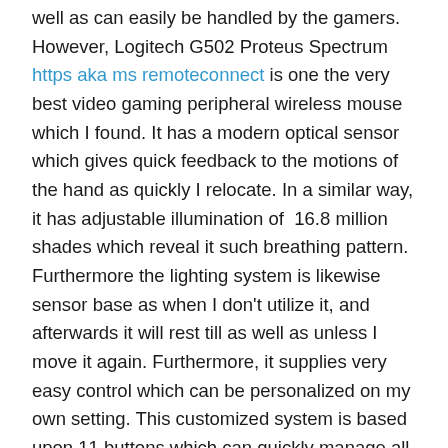well as can easily be handled by the gamers. However, Logitech G502 Proteus Spectrum https aka ms remoteconnect is one the very best video gaming peripheral wireless mouse which I found. It has a modern optical sensor which gives quick feedback to the motions of the hand as quickly I relocate. In a similar way, it has adjustable illumination of 16.8 million shades which reveal it such breathing pattern. Furthermore the lighting system is likewise sensor base as when I don't utilize it, and afterwards it will rest till as well as unless I move it again. Furthermore, it supplies very easy control which can be personalized on my own setting. This customized system is based upon 11 buttons which can quickly manage all the programing in the future gaming like which will be launched in the 2018. Besides this, it is the best pc gaming tool because it is simple to carry with lightweight of the 3.6 gram together with comfortable style for me to utilize as it has grasp also. For that reason, the Logitech G502 Proteus Range is the best pc gaming outer which is simple to gain access to as well as is very easy to acquire because it has reasonable pricing $44.99